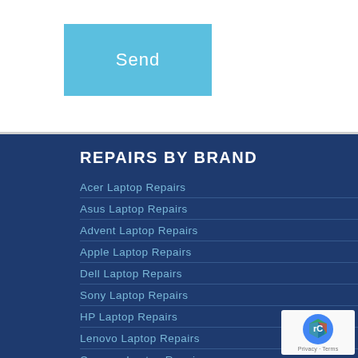[Figure (other): A blue 'Send' button with white text]
REPAIRS BY BRAND
Acer Laptop Repairs
Asus Laptop Repairs
Advent Laptop Repairs
Apple Laptop Repairs
Dell Laptop Repairs
Sony Laptop Repairs
HP Laptop Repairs
Lenovo Laptop Repairs
Compaq Laptop Repairs
Toshiba Laptop Repair
Panasonic Laptop Repair
Packard Bell Laptop Repair
[Figure (logo): reCAPTCHA badge with Privacy and Terms links]